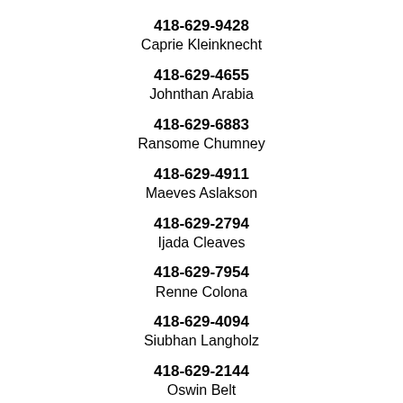418-629-9428
Caprie Kleinknecht
418-629-4655
Johnthan Arabia
418-629-6883
Ransome Chumney
418-629-4911
Maeves Aslakson
418-629-2794
Ijada Cleaves
418-629-7954
Renne Colona
418-629-4094
Siubhan Langholz
418-629-2144
Oswin Belt
418-629-7240
Ashlich Chosh